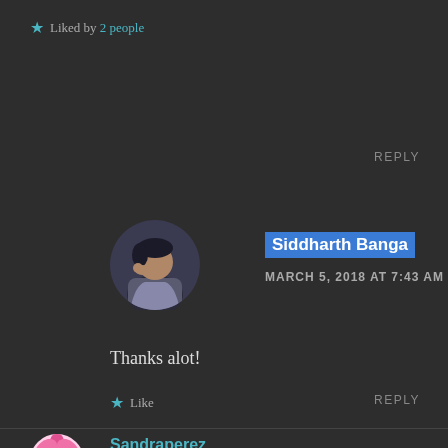★ Liked by 2 people
REPLY
[Figure (photo): Round avatar photo of Siddharth Banga, a young man leaning on his hand]
Siddharth Banga
MARCH 5, 2018 AT 7:43 AM
Thanks alot!
★ Like
REPLY
[Figure (photo): Round avatar photo of Sandraperez with a pink flower]
Sandraperez